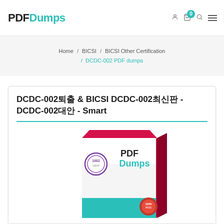[Figure (logo): PDFDumps logo with PDF in black bold and Dumps in teal bold]
Home / BICSI / BICSI Other Certification / DCDC-002 PDF dumps
DCDC-002퇴출 & BICSI DCDC-002최신판 - DCDC-002대안 - Smart
[Figure (photo): PDFDumps product box with teal and dark red/maroon color scheme, showing PDF Dumps branding and a badge]